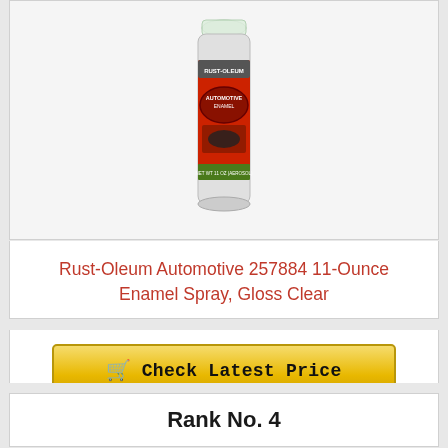[Figure (photo): Rust-Oleum Automotive spray can with red and black label, transparent cap, on white background]
Rust-Oleum Automotive 257884 11-Ounce Enamel Spray, Gloss Clear
Check Latest Price
Rank No. 4
[Figure (photo): Two spray can tops/nozzles, red caps, partially visible at bottom of page]